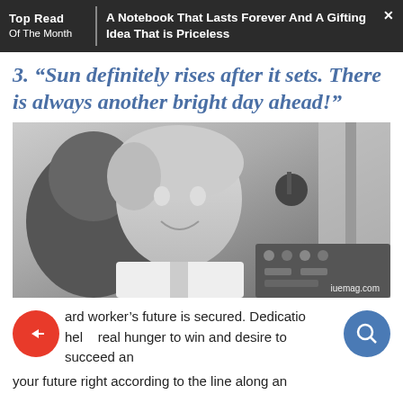Top Read Of The Month | A Notebook That Lasts Forever And A Gifting Idea That is Priceless
3. “Sun definitely rises after it sets. There is always another bright day ahead!”
[Figure (photo): Black and white photo of a smiling older woman seated in the cockpit of an aircraft. Credit: iuemag.com]
...ard worker’s future is secured. Dedication... help, real hunger to win and desire to succeed and your future right according to the line along an